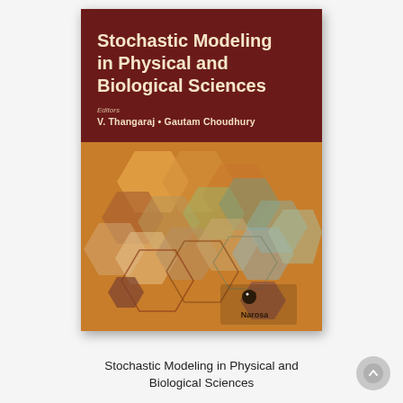[Figure (illustration): Book cover of 'Stochastic Modeling in Physical and Biological Sciences'. Top section is dark maroon with bold cream title text and editors' names (V. Thangaraj, Gautam Choudhury). Bottom section shows overlapping colorful hexagon shapes on a warm orange/tan background with a Narosa publisher logo.]
Stochastic Modeling in Physical and Biological Sciences